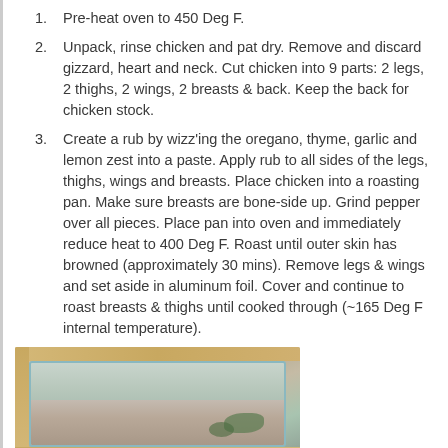Pre-heat oven to 450 Deg F.
Unpack, rinse chicken and pat dry. Remove and discard gizzard, heart and neck. Cut chicken into 9 parts: 2 legs, 2 thighs, 2 wings, 2 breasts & back. Keep the back for chicken stock.
Create a rub by wizz'ing the oregano, thyme, garlic and lemon zest into a paste. Apply rub to all sides of the legs, thighs, wings and breasts. Place chicken into a roasting pan. Make sure breasts are bone-side up. Grind pepper over all pieces. Place pan into oven and immediately reduce heat to 400 Deg F. Roast until outer skin has browned (approximately 30 mins). Remove legs & wings and set aside in aluminum foil. Cover and continue to roast breasts & thighs until cooked through (~165 Deg F internal temperature).
[Figure (photo): Photo of raw chicken pieces in a glass roasting pan on a wooden cutting board, with herbs visible on the chicken.]